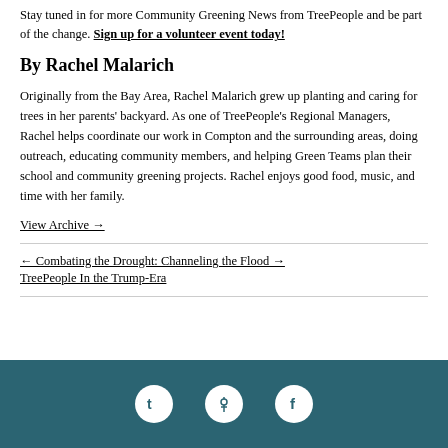Stay tuned in for more Community Greening News from TreePeople and be part of the change. Sign up for a volunteer event today!
By Rachel Malarich
Originally from the Bay Area, Rachel Malarich grew up planting and caring for trees in her parents' backyard. As one of TreePeople's Regional Managers, Rachel helps coordinate our work in Compton and the surrounding areas, doing outreach, educating community members, and helping Green Teams plan their school and community greening projects. Rachel enjoys good food, music, and time with her family.
View Archive →
← Combating the Drought: Channeling the Flood →
TreePeople In the Trump-Era
[Figure (other): Dark teal footer with three white circular social media icons (Twitter/X, Pinterest, Facebook)]